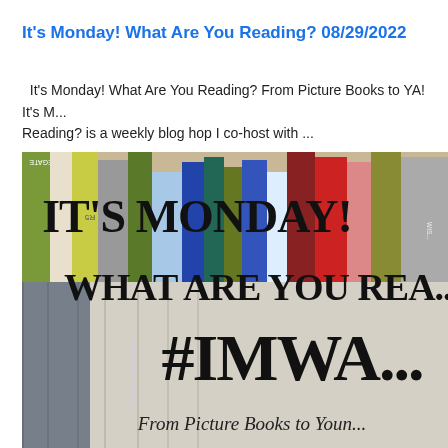It's Monday! What Are You Reading? 08/29/2022
It's Monday! What Are You Reading? From Picture Books to YA!   It's M... Reading? is a weekly blog hop I co-host with ...
[Figure (photo): Photo of books on a shelf with overlay text reading IT'S MONDAY! WHAT ARE YOU REA... #IMWA... From Picture Books to Youn...]